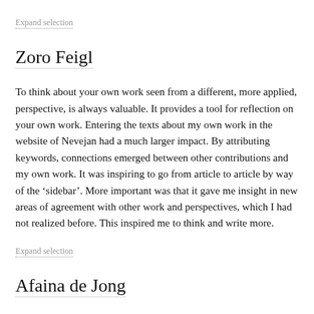between the different worlds.
Expand selection
Zoro Feigl
To think about your own work seen from a different, more applied, perspective, is always valuable. It provides a tool for reflection on your own work. Entering the texts about my own work in the website of Nevejan had a much larger impact. By attributing keywords, connections emerged between other contributions and my own work. It was inspiring to go from article to article by way of the ‘sidebar’. More important was that it gave me insight in new areas of agreement with other work and perspectives, which I had not realized before. This inspired me to think and write more.
Expand selection
Afaina de Jong